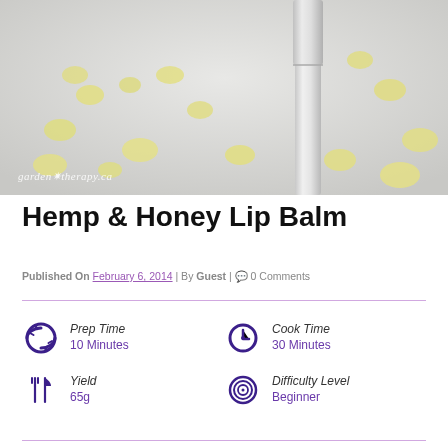[Figure (photo): Photo of a white lip balm tube standing upright with scattered yellow beeswax pellets on a light gray surface. Watermark reads 'garden*therapy.ca']
Hemp & Honey Lip Balm
Published On February 6, 2014 | By Guest | 0 Comments
Prep Time 10 Minutes
Cook Time 30 Minutes
Yield 65g
Difficulty Level Beginner